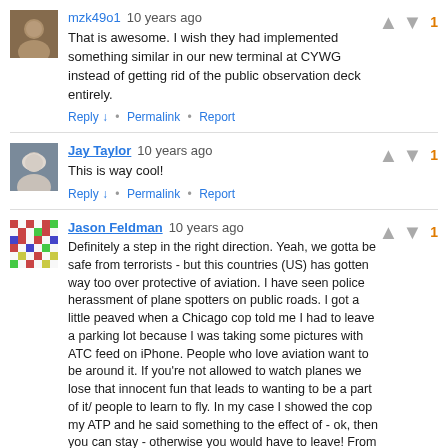[Figure (photo): User avatar for mzk49o1, brown-toned profile photo]
mzk49o1  10 years ago
That is awesome. I wish they had implemented something similar in our new terminal at CYWG instead of getting rid of the public observation deck entirely.
Reply ↓ • Permalink • Report
[Figure (photo): User avatar for Jay Taylor, male portrait]
Jay Taylor  10 years ago
This is way cool!
Reply ↓ • Permalink • Report
[Figure (photo): User avatar for Jason Feldman, patterned/identicon image]
Jason Feldman  10 years ago
Definitely a step in the right direction. Yeah, we gotta be safe from terrorists - but this countries (US) has gotten way too over protective of aviation. I have seen police herassment of plane spotters on public roads. I got a little peaved when a Chicago cop told me I had to leave a parking lot because I was taking some pictures with ATC feed on iPhone. People who love aviation want to be around it. If you're not allowed to watch planes we lose that innocent fun that leads to wanting to be a part of it/ people to learn to fly. In my case I showed the cop my ATP and he said something to the effect of - ok, then you can stay - otherwise you would have to leave! From public parking!? If it looks suspicious I invite police to watch me plane spot - hell - I will even buy them a cup of coffee. I just think that we lost way to many freedoms - all in the name of security. But I digress - this tech sounds fantastic- I hope airports like ohare open up observation decks - sometimes its kinda fun - even if you do this for a living.